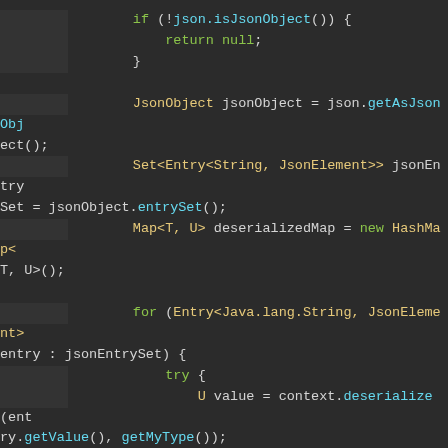[Figure (screenshot): Code editor screenshot showing Java code with syntax highlighting on dark background. Code includes a JSON deserialization method with an if-check, JsonObject creation, Set/Map initialization, a for-loop over jsonEntrySet entries, try-catch block with context.deserialize and deserializedMap.put calls, and a logger.info call in the catch block.]